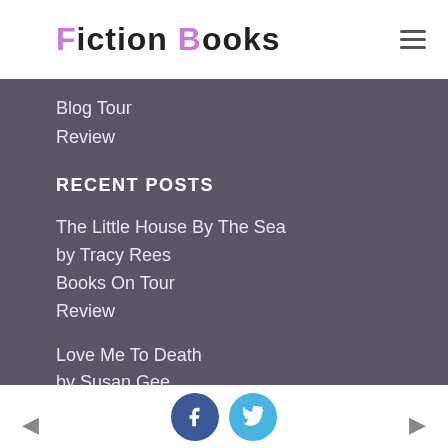Fiction Books
Blog Tour
Review
RECENT POSTS
The Little House By The Sea by Tracy Rees Books On Tour Review
Love Me To Death by Susan Gee
← Facebook Twitter →